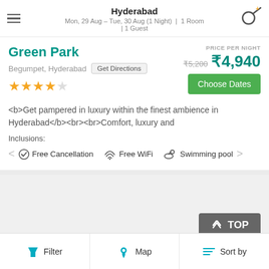Hyderabad
Mon, 29 Aug – Tue, 30 Aug (1 Night) | 1 Room | 1 Guest
Green Park
Begumpet, Hyderabad  Get Directions
★★★★☆
PRICE PER NIGHT
₹5,200  ₹4,940
Choose Dates
<b>Get pampered in luxury within the finest ambience in Hyderabad</b><br><br>Comfort, luxury and
Inclusions:
< ✓ Free Cancellation  ⊷ Free WiFi  🏊 Swimming pool >
TOP
Filter  Map  Sort by